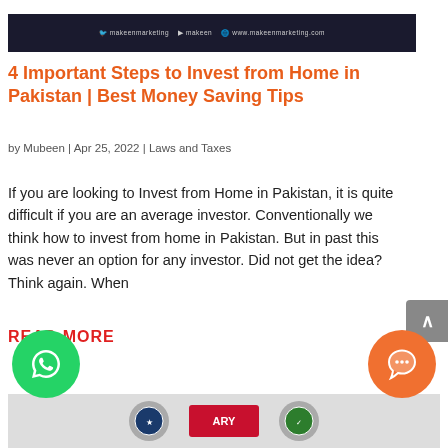[Figure (screenshot): Dark banner with social media and website links: makeenmarketing (Facebook/Instagram), makeen (YouTube), www.makeenmarketing.com]
4 Important Steps to Invest from Home in Pakistan | Best Money Saving Tips
by Mubeen | Apr 25, 2022 | Laws and Taxes
If you are looking to Invest from Home in Pakistan, it is quite difficult if you are an average investor. Conventionally we think how to invest from home in Pakistan. But in past this was never an option for any investor. Did not get the idea? Think again. When
[Figure (screenshot): Bottom strip with logos including ARY and other organization logos]